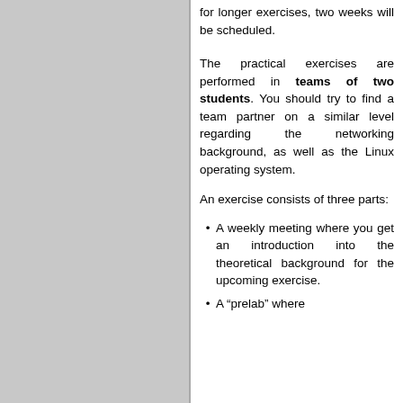for longer exercises, two weeks will be scheduled.
The practical exercises are performed in teams of two students. You should try to find a team partner on a similar level regarding the networking background, as well as the Linux operating system.
An exercise consists of three parts:
A weekly meeting where you get an introduction into the theoretical background for the upcoming exercise.
A “prelab” where